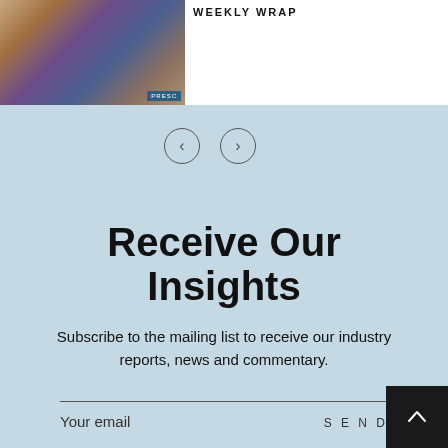[Figure (photo): Blurred photo of papers/books with a dark blue label overlay reading PRESENCE or similar text]
WEEKLY WRAP
[Figure (other): Navigation chevron arrows: left < and right >]
Receive Our Insights
Subscribe to the mailing list to receive our industry reports, news and commentary.
Your email
SEND